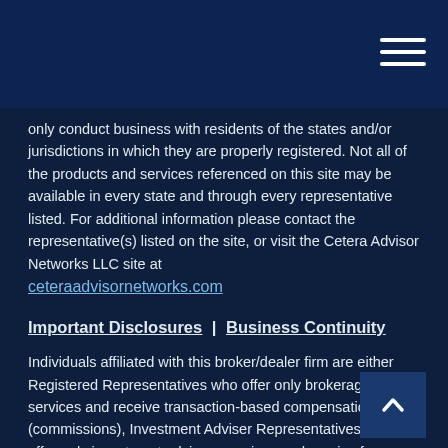only conduct business with residents of the states and/or jurisdictions in which they are properly registered. Not all of the products and services referenced on this site may be available in every state and through every representative listed. For additional information please contact the representative(s) listed on the site, or visit the Cetera Advisor Networks LLC site at ceteraadvisornetworks.com
Important Disclosures | Business Continuity
Individuals affiliated with this broker/dealer firm are either Registered Representatives who offer only brokerage services and receive transaction-based compensation (commissions), Investment Adviser Representatives who offer only investment advisory services and receive fees based on assets, or both Registered Representatives and Investment Adviser Representatives, who can offer both types of services.